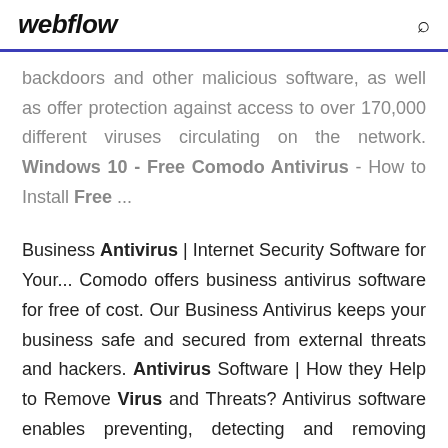webflow
backdoors and other malicious software, as well as offer protection against access to over 170,000 different viruses circulating on the network. Windows 10 - Free Comodo Antivirus - How to Install Free ...
Business Antivirus | Internet Security Software for Your... Comodo offers business antivirus software for free of cost. Our Business Antivirus keeps your business safe and secured from external threats and hackers. Antivirus Software | How they Help to Remove Virus and Threats? Antivirus software enables preventing, detecting and removing malware infections from systems, networks, and computing